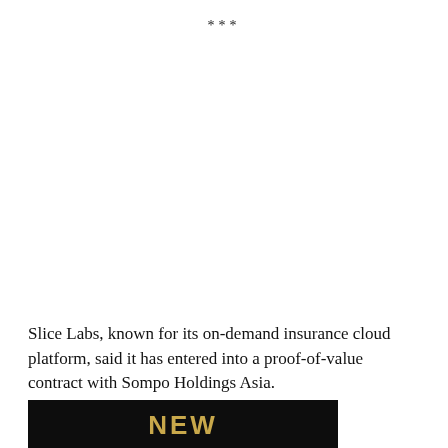***
Slice Labs, known for its on-demand insurance cloud platform, said it has entered into a proof-of-value contract with Sompo Holdings Asia.
[Figure (photo): Dark background image with gold/yellow bold text reading 'NEW']